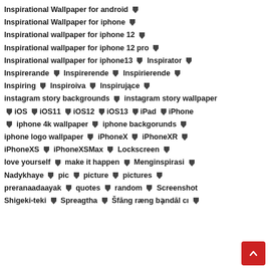Inspirational Wallpaper for android
Inspirational Wallpaper for iphone
Inspirational wallpaper for iphone 12
Inspirational wallpaper for iphone 12 pro
Inspirational wallpaper for iphone13  Inspirator
Inspirerande  Inspirerende  Inspirierende
Inspiring  Inspiroiva  Inspirujące
instagram story backgrounds  instagram story wallpaper
iOS  iOS11  iOS12  iOS13  iPad  iPhone
iphone 4k wallpaper  iphone backgorunds
iphone logo wallpaper  iPhoneX  iPhoneXR
iPhoneXS  iPhoneXSMax  Lockscreen
love yourself  make it happen  Menginspirasi
Nadykhaye  pic  picture  pictures
preranaadaayak  quotes  random  Screenshot
Shigeki-teki  Spreagtha  Šfāng ræng bạndāl cı